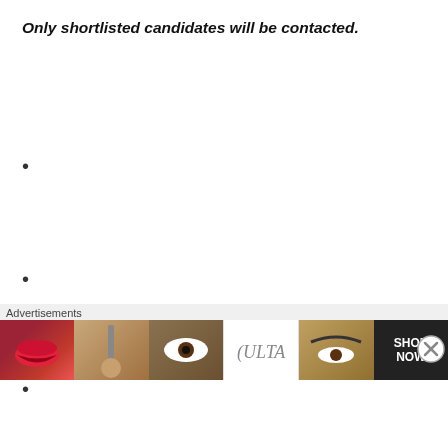Only shortlisted candidates will be contacted.
•
•
•
[Figure (logo): Insurance Regulatory Authority logo with stacked diamond/rhombus shapes in green and gold colors inside a gold arc circle, with text 'Insurance Regulatory Authority' in gold]
Advertisements
[Figure (photo): Advertisement banner showing beauty/makeup products from ULTA with lips, makeup brush, eye, ULTA logo, eyebrows, and SHOP NOW text]